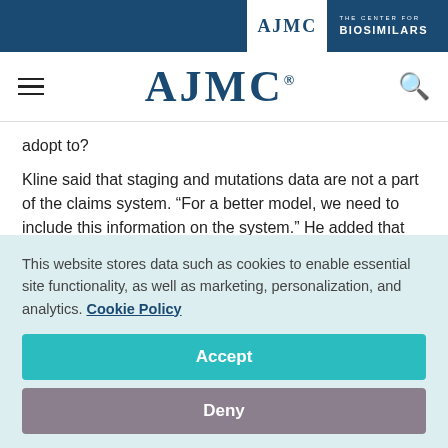AJMC | THE CENTER FOR BIOSIMILARS
[Figure (logo): AJMC logo with navigation hamburger menu and search icon]
adopt to?
Kline said that staging and mutations data are not a part of the claims system. “For a better model, we need to include this information on the system.” He added that the first year of quality reporting is “pay-for-improvement, not pay-for-
This website stores data such as cookies to enable essential site functionality, as well as marketing, personalization, and analytics. Cookie Policy
Accept
Deny